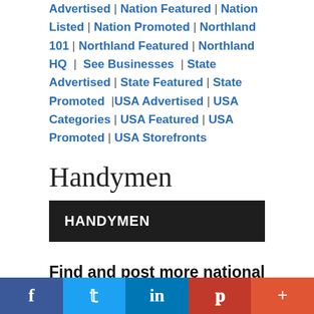Advertised | Nation Featured | Nation Listed | Nation Promoted | Northland 101 | Northland Featured | Northland HQ | See Businesses | State Advertised | State Featured | State Promoted | USA Advertised | USA Categories | USA Featured | USA Promoted | USA Storefronts
Handymen
HANDYMEN
Find and post more national to local business related and local information on these digital